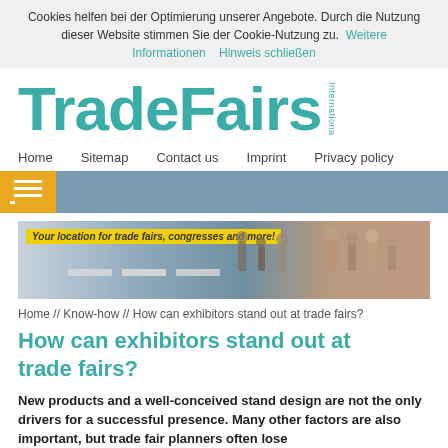Cookies helfen bei der Optimierung unserer Angebote. Durch die Nutzung dieser Website stimmen Sie der Cookie-Nutzung zu.  Weitere Informationen    Hinweis schließen
[Figure (logo): TradeFairs International logo in teal/turquoise color]
Home    Sitemap    Contact us    Imprint    Privacy policy
[Figure (screenshot): Navigation bar with hamburger menu button in yellow/orange on teal-grey background]
[Figure (photo): Banner photo of trade fair exhibition hall with text overlay: Your location for trade fairs, congresses and more!]
Home // Know-how // How can exhibitors stand out at trade fairs?
How can exhibitors stand out at trade fairs?
New products and a well-conceived stand design are not the only drivers for a successful presence. Many other factors are also important, but trade fair planners often lose